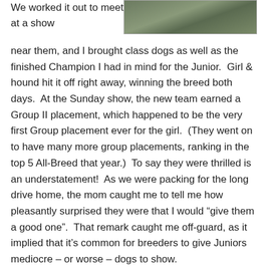We worked it out to meet at a show
[Figure (photo): Outdoor photo, likely of a dog show setting, with green/grey tones]
near them, and I brought class dogs as well as the finished Champion I had in mind for the Junior.  Girl & hound hit it off right away, winning the breed both days.  At the Sunday show, the new team earned a Group II placement, which happened to be the very first Group placement ever for the girl.  (They went on to have many more group placements, ranking in the top 5 All-Breed that year.)  To say they were thrilled is an understatement!  As we were packing for the long drive home, the mom caught me to tell me how pleasantly surprised they were that I would “give them a good one”.  That remark caught me off-guard, as it implied that it’s common for breeders to give Juniors mediocre – or worse – dogs to show.